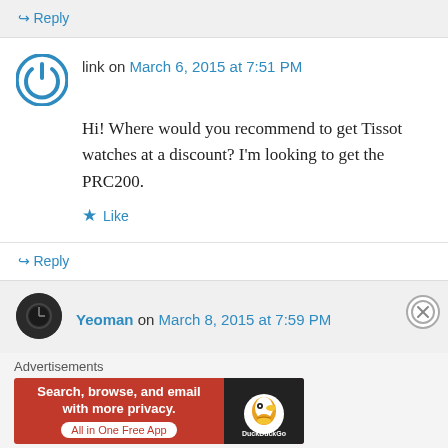↪ Reply
link on March 6, 2015 at 7:51 PM
Hi! Where would you recommend to get Tissot watches at a discount? I'm looking to get the PRC200.
★ Like
↪ Reply
Yeoman on March 8, 2015 at 7:59 PM
Advertisements
[Figure (infographic): DuckDuckGo advertisement banner: 'Search, browse, and email with more privacy. All in One Free App' with DuckDuckGo logo on dark background.]